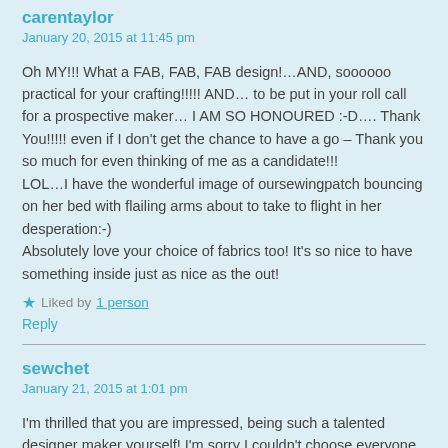carentaylor
January 20, 2015 at 11:45 pm
Oh MY!!! What a FAB, FAB, FAB design!…AND, soooooo practical for your crafting!!!!! AND… to be put in your roll call for a prospective maker… I AM SO HONOURED :-D…. Thank You!!!!! even if I don't get the chance to have a go – Thank you so much for even thinking of me as a candidate!!!
LOL…I have the wonderful image of oursewingpatch bouncing on her bed with flailing arms about to take to flight in her desperation:-)
Absolutely love your choice of fabrics too! It's so nice to have something inside just as nice as the out!
★ Liked by 1 person
Reply
sewchet
January 21, 2015 at 1:01 pm
I'm thrilled that you are impressed, being such a talented designer maker yourself! I'm sorry I couldn't choose everyone